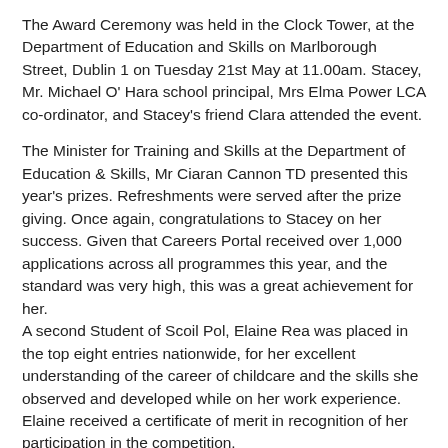The Award Ceremony was held in the Clock Tower, at the Department of Education and Skills on Marlborough Street, Dublin 1 on Tuesday 21st May at 11.00am. Stacey, Mr. Michael O' Hara school principal, Mrs Elma Power LCA co-ordinator, and Stacey's friend Clara attended the event.
The Minister for Training and Skills at the Department of Education & Skills, Mr Ciaran Cannon TD presented this year's prizes. Refreshments were served after the prize giving. Once again, congratulations to Stacey on her success. Given that Careers Portal received over 1,000 applications across all programmes this year, and the standard was very high, this was a great achievement for her.
A second Student of Scoil Pol, Elaine Rea was placed in the top eight entries nationwide, for her excellent understanding of the career of childcare and the skills she observed and developed while on her work experience. Elaine received a certificate of merit in recognition of her participation in the competition.
On behalf of all in Scoil Pol, we congratulate our two students on their much deserved achievements.
Scoil Pól LCA students make history with the perfect 10!
Leaving Certificate Applied session 1 results arrived in Scoil Pól from the Department of Education and Skills last week. The LCA students can only benefit from their in a number of